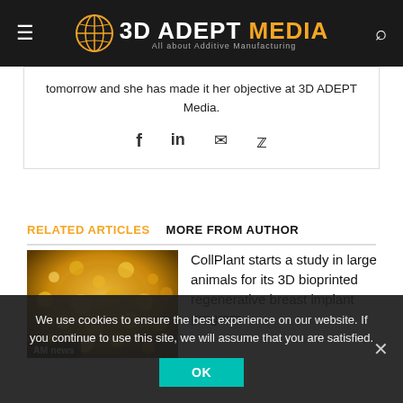3D ADEPT MEDIA — All about Additive Manufacturing
tomorrow and she has made it her objective at 3D ADEPT Media.
[Figure (other): Social share icons: Facebook (f), LinkedIn (in), Email (envelope), Twitter (bird)]
RELATED ARTICLES   MORE FROM AUTHOR
[Figure (photo): Thumbnail image showing golden granular material, labeled 'AM news']
CollPlant starts a study in large animals for its 3D bioprinted regenerative breast implant program
We use cookies to ensure the best experience on our website. If you continue to use this site, we will assume that you are satisfied.